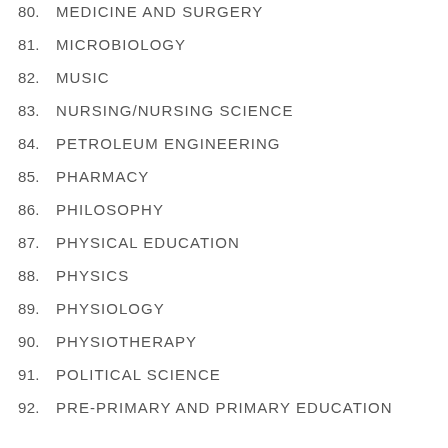80. MEDICINE AND SURGERY
81. MICROBIOLOGY
82. MUSIC
83. NURSING/NURSING SCIENCE
84. PETROLEUM ENGINEERING
85. PHARMACY
86. PHILOSOPHY
87. PHYSICAL EDUCATION
88. PHYSICS
89. PHYSIOLOGY
90. PHYSIOTHERAPY
91. POLITICAL SCIENCE
92. PRE-PRIMARY AND PRIMARY EDUCATION